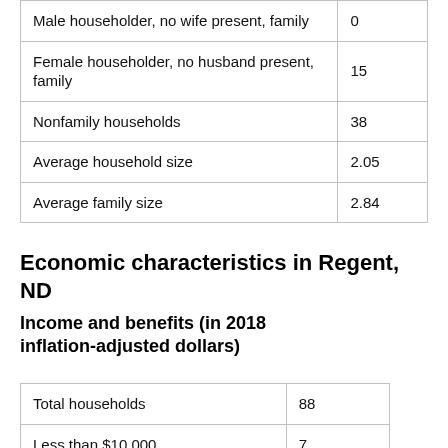|  |  |
| --- | --- |
| Male householder, no wife present, family | 0 |
| Female householder, no husband present, family | 15 |
| Nonfamily households | 38 |
| Average household size | 2.05 |
| Average family size | 2.84 |
Economic characteristics in Regent, ND
Income and benefits (in 2018 inflation-adjusted dollars)
|  |  |
| --- | --- |
| Total households | 88 |
| Less than $10,000 | 7 |
| $10,000 to $14,999 | 0 |